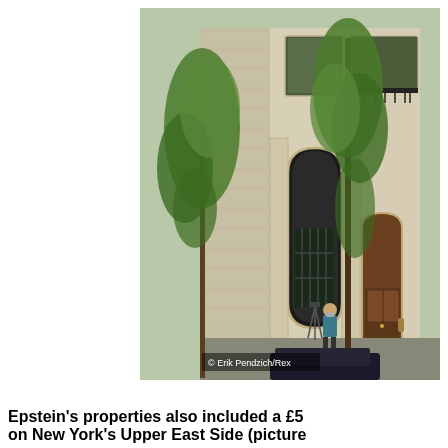[Figure (photo): Exterior photograph of a large ornate multi-storey limestone building on a New York street. Trees line the pavement. A man with a camera on a tripod stands at the base. The building features arched windows, decorative stonework, and ironwork balconies. Watermark reads © Erik Pendzich/Rex.]
© Erik Pendzich/Rex
Epstein's properties also included a £5 on New York's Upper East Side (picture